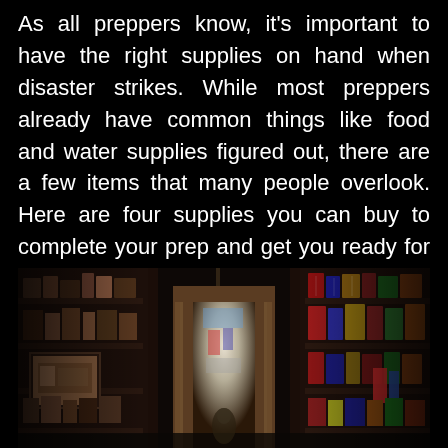As all preppers know, it's important to have the right supplies on hand when disaster strikes. While most preppers already have common things like food and water supplies figured out, there are a few items that many people overlook. Here are four supplies you can buy to complete your prep and get you ready for anything life may throw at you.
[Figure (photo): Interior of a storage room or shop with tall shelves lined with boxes, books, and supplies on both sides, a doorway with light coming through the center, and various items including posters and containers visible on the shelves.]